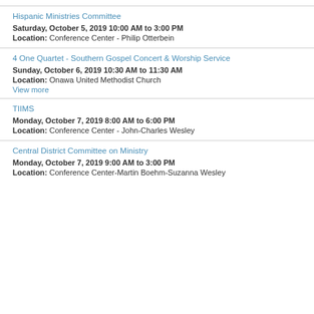Hispanic Ministries Committee
Saturday, October 5, 2019 10:00 AM to 3:00 PM
Location: Conference Center - Philip Otterbein
4 One Quartet - Southern Gospel Concert & Worship Service
Sunday, October 6, 2019 10:30 AM to 11:30 AM
Location: Onawa United Methodist Church
View more
TIIMS
Monday, October 7, 2019 8:00 AM to 6:00 PM
Location: Conference Center - John-Charles Wesley
Central District Committee on Ministry
Monday, October 7, 2019 9:00 AM to 3:00 PM
Location: Conference Center-Martin Boehm-Suzanna Wesley